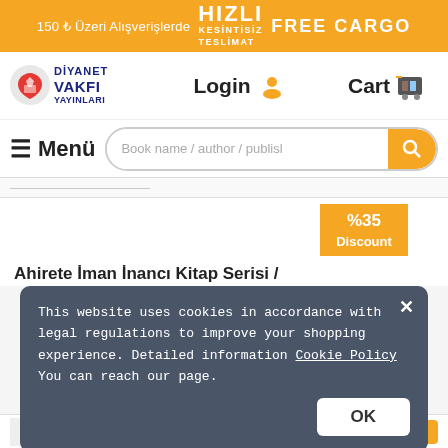150 ₺ Üzeri Alışverişlerde HIZLI KESİNTİSİZ TESLİMAT FREE CARGO
[Figure (logo): Diyanet Vakfı Yayınları logo with red heart/book icon]
Login
Cart
≡  Menü
Book name / author / publisl
[Figure (infographic): %35 Discount badge in orange with arrow pointing down]
Ahirete İman İnancı Kitap Serisi /
This website uses cookies in accordance with legal regulations to improve your shopping experience. Detailed information Cookie Policy You can reach our page.
OK